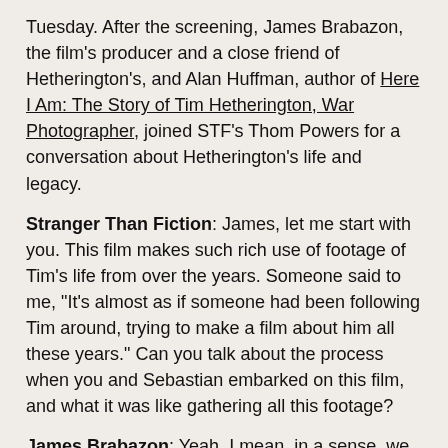Tuesday. After the screening, James Brabazon, the film's producer and a close friend of Hetherington's, and Alan Huffman, author of Here I Am: The Story of Tim Hetherington, War Photographer, joined STF's Thom Powers for a conversation about Hetherington's life and legacy.
Stranger Than Fiction: James, let me start with you. This film makes such rich use of footage of Tim's life from over the years. Someone said to me, "It's almost as if someone had been following Tim around, trying to make a film about him all these years." Can you talk about the process when you and Sebastian embarked on this film, and what it was like gathering all this footage?
James Brabazon: Yeah. I mean, in a sense, we were extremely fortunate to have such a wealth of archival material of Tim. Actually, the process of collecting the archive and looking at what we would want to include in the film – how Tim would help us tell his story – was, as filmmakers, really vital and illuminating. But also, on a